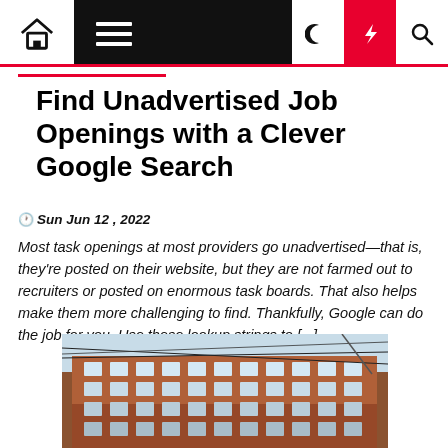Navigation bar with home, menu, dark mode, lightning/breaking, and search icons
Find Unadvertised Job Openings with a Clever Google Search
Sun Jun 12, 2022
Most task openings at most providers go unadvertised—that is, they're posted on their website, but they are not farmed out to recruiters or posted on enormous task boards. That also helps make them more challenging to find. Thankfully, Google can do the job for you. Use these lookup strings to [...]
[Figure (photo): Photograph of a brick building facade with overhead wires in the foreground and a clear sky background]